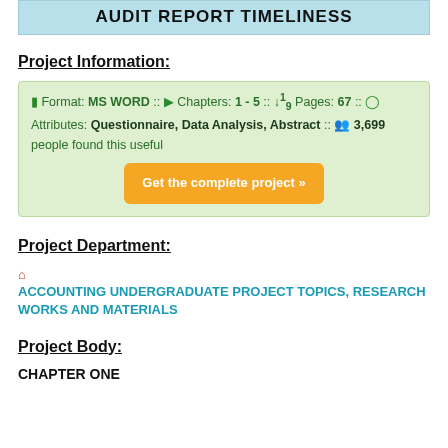AUDIT REPORT TIMELINESS
Project Information:
Format: MS WORD :: Chapters: 1 - 5 :: Pages: 67 :: Attributes: Questionnaire, Data Analysis, Abstract :: 3,699 people found this useful
Get the complete project »
Project Department:
ACCOUNTING UNDERGRADUATE PROJECT TOPICS, RESEARCH WORKS AND MATERIALS
Project Body:
CHAPTER ONE